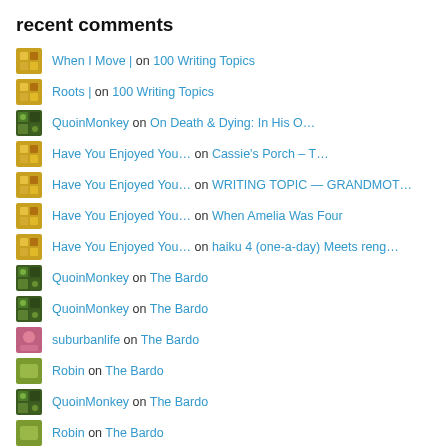recent comments
When I Move | on 100 Writing Topics
Roots | on 100 Writing Topics
QuoinMonkey on On Death & Dying: In His O…
Have You Enjoyed You… on Cassie's Porch – T…
Have You Enjoyed You… on WRITING TOPIC — GRANDMOT…
Have You Enjoyed You… on When Amelia Was Four
Have You Enjoyed You… on haiku 4 (one-a-day) Meets reng…
QuoinMonkey on The Bardo
QuoinMonkey on The Bardo
suburbanlife on The Bardo
Robin on The Bardo
QuoinMonkey on The Bardo
Robin on The Bardo
Shirley on My Life In Letters: 1975…
QuoinMonkey on December Bloom ∞ Looking Forwa…